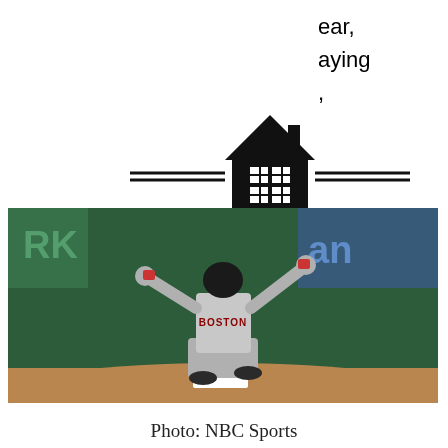ear,
aying
,
[Figure (logo): House Enterprise logo with house icon, double lines on each side, text HOUSE ENTERPRISE, EST. 2020]
[Figure (other): Black hamburger menu button with three white horizontal lines]
reak
er.
et
[Figure (photo): Baseball player in Boston Red Sox uniform celebrating at second base, pointing with both hands, during a night game. Background shows stadium advertising boards.]
Photo: NBC Sports